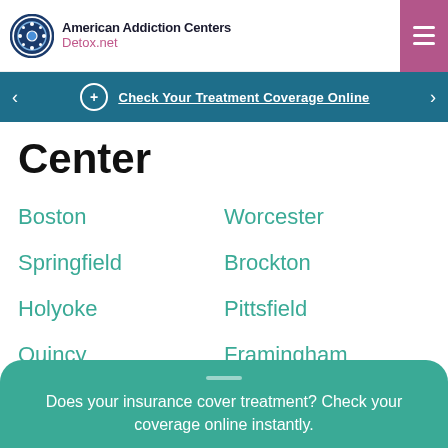American Addiction Centers Detox.net
Check Your Treatment Coverage Online
Center
Boston
Worcester
Springfield
Brockton
Holyoke
Pittsfield
Quincy
Framingham
Show More Cities
Does your insurance cover treatment? Check your coverage online instantly.